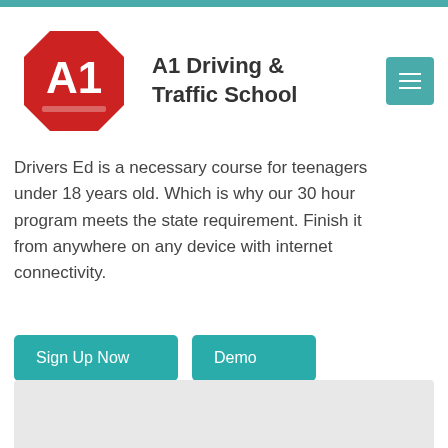A1 Driving & Traffic School
Drivers Ed is a necessary course for teenagers under 18 years old. Which is why our 30 hour program meets the state requirement. Finish it from anywhere on any device with internet connectivity.
Sign Up Now
Demo
Boost Your HS GPA!!
More Info
[Figure (other): Gray placeholder image area at the bottom of the page]